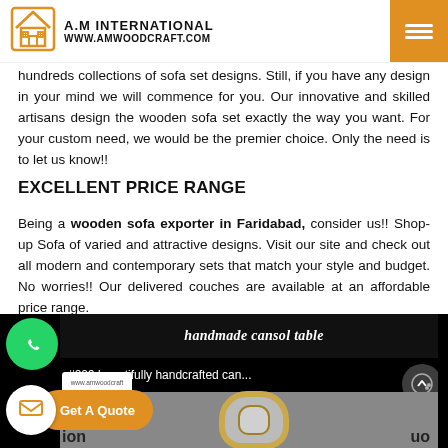A.M INTERNATIONAL www.amwoodcraft.com
hundreds collections of sofa set designs. Still, if you have any design in your mind we will commence for you. Our innovative and skilled artisans design the wooden sofa set exactly the way you want. For your custom need, we would be the premier choice. Only the need is to let us know!!
EXCELLENT PRICE RANGE
Being a wooden sofa exporter in Faridabad, consider us!! Shop-up Sofa of varied and attractive designs. Visit our site and check out all modern and contemporary sets that match your style and budget. No worries!! Our delivered couches are available at an affordable price range.
[Figure (screenshot): Video thumbnail showing 'handmade cansol table' with subtitle '#009 beautifully handcrafted can...' and a mirror/frame image. WhatsApp button, small logo badge, Get A Quote orange button, and scroll-up button are overlaid.]